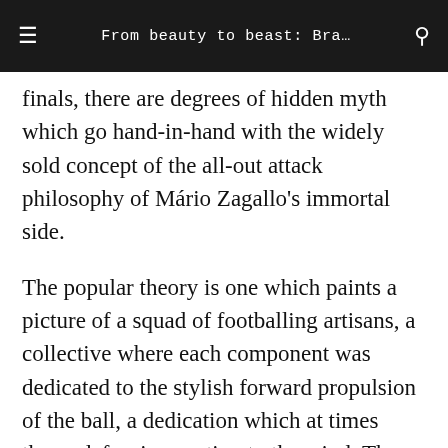From beauty to beast: Bra…
finals, there are degrees of hidden myth which go hand-in-hand with the widely sold concept of the all-out attack philosophy of Mário Zagallo's immortal side.
The popular theory is one which paints a picture of a squad of footballing artisans, a collective where each component was dedicated to the stylish forward propulsion of the ball, a dedication which at times threw defensive caution to the wind. The 1970 World Cup final is as much cherished and celebrated for Carlos Alberto's remarkable crowning glory of a fourth goal as it is for the goal which earlier in the game put Italy on parity at 1-1, when Brito gifted Roberto Boninsegna his equaliser. The aura of a carelessly